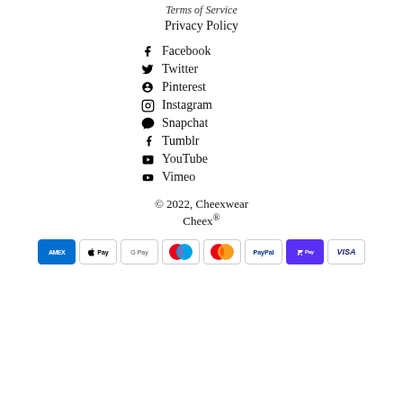Terms of Service
Privacy Policy
Facebook
Twitter
Pinterest
Instagram
Snapchat
Tumblr
YouTube
Vimeo
© 2022, Cheexwear Cheex®
[Figure (other): Payment method icons: American Express, Apple Pay, Google Pay, Maestro, Mastercard, PayPal, Shop Pay, Visa]